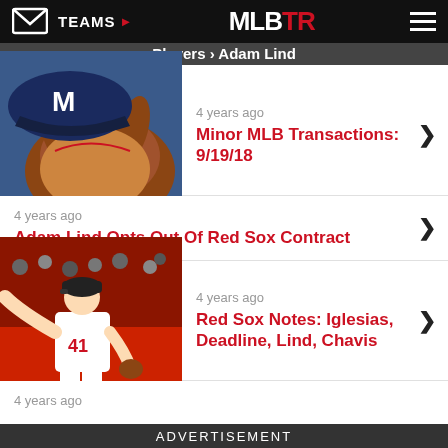TEAMS | MLBTR
Players › Adam Lind
4 years ago
Minor MLB Transactions: 9/19/18
4 years ago
Adam Lind Opts Out Of Red Sox Contract
4 years ago
Red Sox Notes: Iglesias, Deadline, Lind, Chavis
4 years ago
ADVERTISEMENT